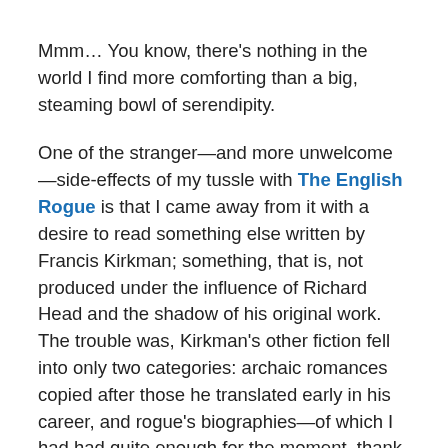Mmm… You know, there's nothing in the world I find more comforting than a big, steaming bowl of serendipity.
One of the stranger—and more unwelcome—side-effects of my tussle with The English Rogue is that I came away from it with a desire to read something else written by Francis Kirkman; something, that is, not produced under the influence of Richard Head and the shadow of his original work. The trouble was, Kirkman's other fiction fell into only two categories: archaic romances copied after those he translated early in his career, and rogue's biographies—of which I had had quite enough for the moment, thank you.
That said, the obvious choice amongst Kirkman's solo